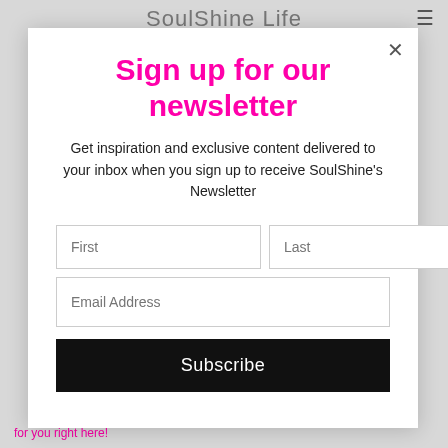SoulShine Life
Sign up for our newsletter
Get inspiration and exclusive content delivered to your inbox when you sign up to receive SoulShine's Newsletter
[Figure (screenshot): Newsletter signup form with First, Last, Email Address fields and Subscribe button]
for you right here!